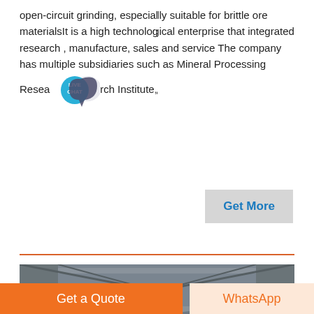open-circuit grinding, especially suitable for brittle ore materialsIt is a high technological enterprise that integrated research , manufacture, sales and service The company has multiple subsidiaries such as Mineral Processing Research Institute,
[Figure (other): Live Chat bubble icon with teal circular badge labeled LIVE CHAT and speech bubble graphic]
Get More
[Figure (photo): Interior of industrial factory/warehouse showing two large cylindrical grinding mill machines on a steel-framed floor with a red banner sign below them, under a corrugated metal roof with fluorescent lighting.]
Get a Quote
WhatsApp